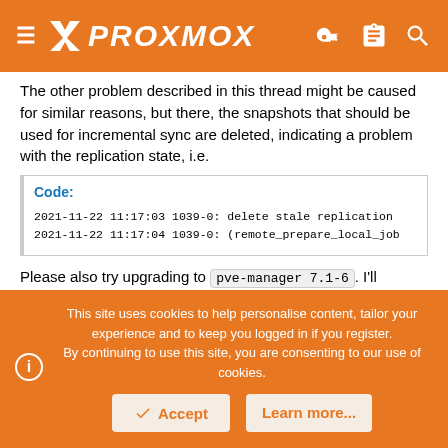PROXMOX
The other problem described in this thread might be caused for similar reasons, but there, the snapshots that should be used for incremental sync are deleted, indicating a problem with the replication state, i.e.
Code:
2021-11-22 11:17:03 1039-0: delete stale replication
2021-11-22 11:17:04 1039-0: (remote_prepare_local_job
Please also try upgrading to pve-manager 7.1-6. I'll investigate further and will work on a patch that would allow replication to recover if the replication state is invalid.
This site uses cookies to help personalise content, tailor your experience and to keep you logged in if you register.
By continuing to use this site, you are consenting to our use of cookies.